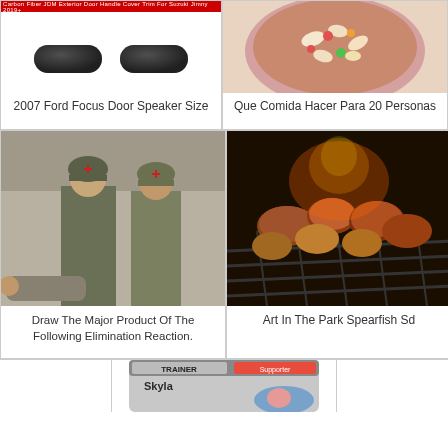[Figure (photo): Two dark car door speaker grilles (carbon fiber style) on white background with red banner text at top]
2007 Ford Focus Door Speaker Size
[Figure (photo): Bowl of colorful pasta salad with vegetables on pink plate]
Que Comida Hacer Para 20 Personas
[Figure (photo): Black and white photo of two WWII soldiers in military uniforms with helmets]
Draw The Major Product Of The Following Elimination Reaction.
[Figure (photo): Grilled meat and plantains on a barbecue grill]
Art In The Park Spearfish Sd
[Figure (photo): Pokemon Trainer card featuring Skyla character]